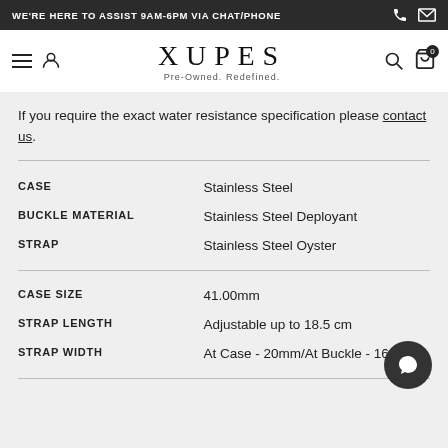WE'RE HERE TO ASSIST 9AM-6PM VIA CHAT/PHONE
XUPES Pre-Owned. Redefined.
If you require the exact water resistance specification please contact us.
|  |  |
| --- | --- |
| CASE | Stainless Steel |
| BUCKLE MATERIAL | Stainless Steel Deployant |
| STRAP | Stainless Steel Oyster |
| CASE SIZE | 41.00mm |
| STRAP LENGTH | Adjustable up to 18.5 cm |
| STRAP WIDTH | At Case - 20mm/At Buckle - 16mm |